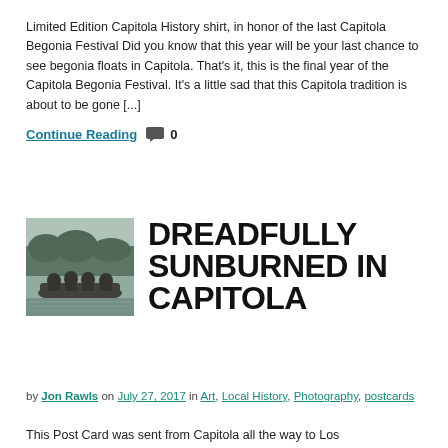Limited Edition Capitola History shirt, in honor of the last Capitola Begonia Festival Did you know that this year will be your last chance to see begonia floats in Capitola. That's it, this is the final year of the Capitola Begonia Festival. It's a little sad that this Capitola tradition is about to be gone [...]
Continue Reading 💬 0
[Figure (photo): Black and white historical photo of people in a boat, postcard style]
DREADFULLY SUNBURNED IN CAPITOLA
by Jon Rawls on July 27, 2017 in Art, Local History, Photography, postcards
This Post Card was sent from Capitola all the way to Los